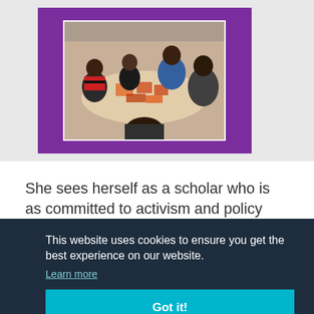[Figure (photo): Group of people sitting around a round table with papers/cards, appearing to be in a workshop or meeting setting. The photo is framed by a purple background box.]
She sees herself as a scholar who is as committed to activism and policy intervention as she is to research. So Richie would choose [text obscured by cookie banner] an [text obscured] a [text obscured] iders [text obscured] ds it
This website uses cookies to ensure you get the best experience on our website.
Learn more
Got it!
emblematic of the major challenge for junior